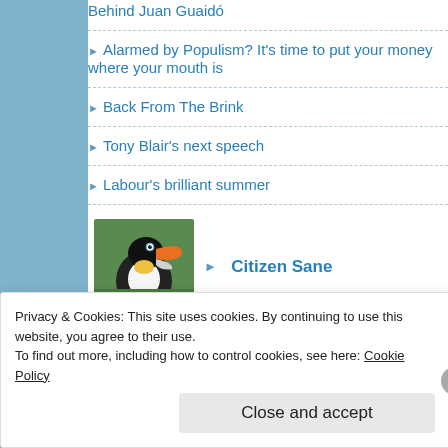Behind Juan Guaidó
Alarmed by Populism? It's time to put your money where your mouth is
Back From The Brink
Tony Blair's next speech
Labour's brilliant summer
[Figure (photo): Photo of a toucan bird with orange beak on green background, beside text 'Citizen Sane']
Sweet Rothschild o' Mine
Some thoughts on Corbyn and the Labour Party
Privacy & Cookies: This site uses cookies. By continuing to use this website, you agree to their use.
To find out more, including how to control cookies, see here: Cookie Policy
Close and accept